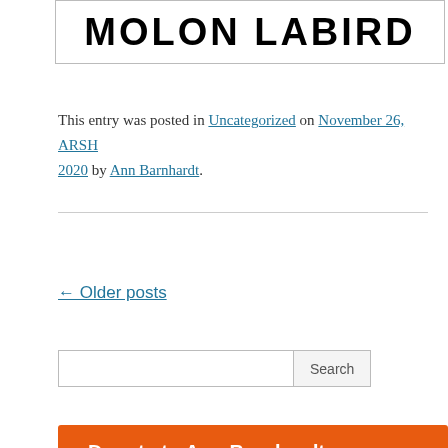[Figure (illustration): Banner image showing large bold black text 'MOLON LABIRD' on white background with decorative border]
This entry was posted in Uncategorized on November 26, ARSH 2020 by Ann Barnhardt.
← Older posts
[Figure (other): Search bar with text input field and Search button]
[Figure (other): Orange button labeled 'Donate to Ann Barnhardt']